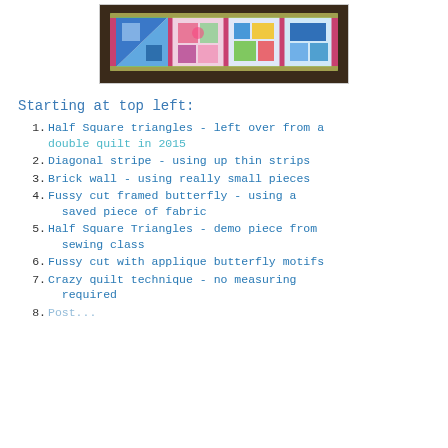[Figure (photo): Photo of a colorful quilt with various patchwork blocks in blue, pink, green, and floral patterns laid on a dark surface.]
Starting at top left:
Half Square triangles - left over from a double quilt in 2015
Diagonal stripe - using up thin strips
Brick wall - using really small pieces
Fussy cut framed butterfly - using a saved piece of fabric
Half Square Triangles - demo piece from sewing class
Fussy cut with applique butterfly motifs
Crazy quilt technique - no measuring required
8. (partially visible)